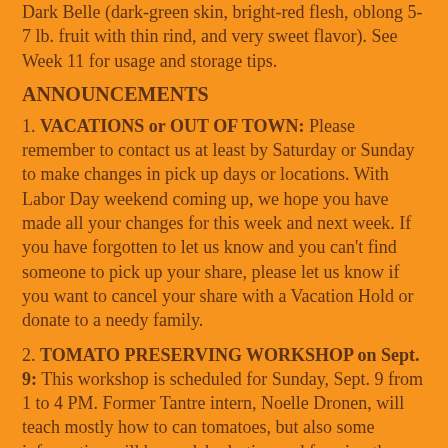Dark Belle (dark-green skin, bright-red flesh, oblong 5-7 lb. fruit with thin rind, and very sweet flavor). See Week 11 for usage and storage tips.
ANNOUNCEMENTS
1. VACATIONS or OUT OF TOWN: Please remember to contact us at least by Saturday or Sunday to make changes in pick up days or locations. With Labor Day weekend coming up, we hope you have made all your changes for this week and next week. If you have forgotten to let us know and you can’t find someone to pick up your share, please let us know if you want to cancel your share with a Vacation Hold or donate to a needy family.
2. TOMATO PRESERVING WORKSHOP on Sept. 9: This workshop is scheduled for Sunday, Sept. 9 from 1 to 4 PM. Former Tantre intern, Noelle Dronen, will teach mostly how to can tomatoes, but also some information will be on dehydrating and freezing them. There will be active participation and “take-home” samples for those attending. Plan on bringing a Quart Size Canning Jar. Please register with your Name, Phone Number, and E-mail Address in the body of the email to us. There will be a small $5 fee for materials. Bulk tomatoes will be available for you to buy. Lots of tomatoes are available to